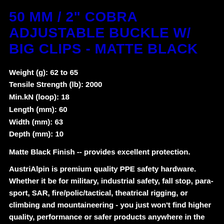50 MM / 2" COBRA ADJUSTABLE BUCKLE W/ BIG CLIPS - MATTE BLACK
Weight (g): 62 to 65
Tensile Strength (lb): 2000
Min.kN (loop): 18
Length (mm): 60
Width (mm): 63
Depth (mm): 10
Matte Black Finish -- provides excellent protection.
AustriAlpin is premium quality PPE safety hardware. Whether it be for military, industrial safety, fall stop, para-sport, SAR, fire/polic/tactical, theatrical rigging, or climbing and mountaineering - you just won't find higher quality, performance or safer products anywhere in the world. You'll also be pleased to know that we don't outsource our production to cheap labour based manufacters in Asia - where